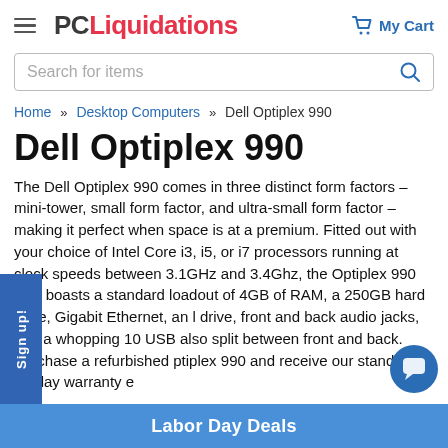PC Liquidations — My Cart
Search for items
Home » Desktop Computers » Dell Optiplex 990
Dell Optiplex 990
The Dell Optiplex 990 comes in three distinct form factors – mini-tower, small form factor, and ultra-small form factor – making it perfect when space is at a premium. Fitted out with your choice of Intel Core i3, i5, or i7 processors running at clock speeds between 3.1GHz and 3.4Ghz, the Optiplex 990 also boasts a standard loadout of 4GB of RAM, a 250GB hard drive, Gigabit Ethernet, an l drive, front and back audio jacks, and a whopping 10 USB also split between front and back. Purchase a refurbished ptiplex 990 and receive our standard 90-day warranty e
Sign up!
Labor Day Deals